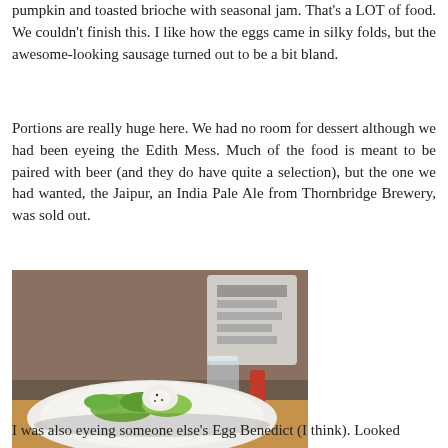pumpkin and toasted brioche with seasonal jam. That's a LOT of food. We couldn't finish this. I like how the eggs came in silky folds, but the awesome-looking sausage turned out to be a bit bland.
Portions are really huge here. We had no room for dessert although we had been eyeing the Edith Mess. Much of the food is meant to be paired with beer (and they do have quite a selection), but the one we had wanted, the Jaipur, an India Pale Ale from Thornbridge Brewery, was sold out.
[Figure (photo): A white bowl with a food dish — appears to be a salad or vegetable dish with a poached egg on top, placed on a wooden table. A glass and other items are visible in the background.]
I was also eyeing someone else's Egg Benedict (I think). Looked